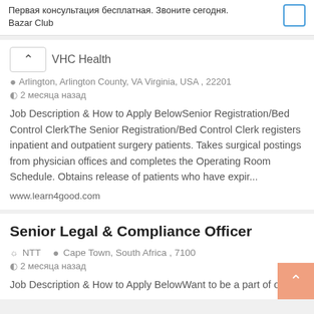Первая консультация бесплатная. Звоните сегодня. Bazar Club
VHC Health
Arlington, Arlington County, VA Virginia, USA , 22201
2 месяца назад
Job Description & How to Apply BelowSenior Registration/Bed Control ClerkThe Senior Registration/Bed Control Clerk registers inpatient and outpatient surgery patients. Takes surgical postings from physician offices and completes the Operating Room Schedule. Obtains release of patients who have expir...
www.learn4good.com
Senior Legal & Compliance Officer
NTT   Cape Town, South Africa , 7100
2 месяца назад
Job Description & How to Apply BelowWant to be a part of our